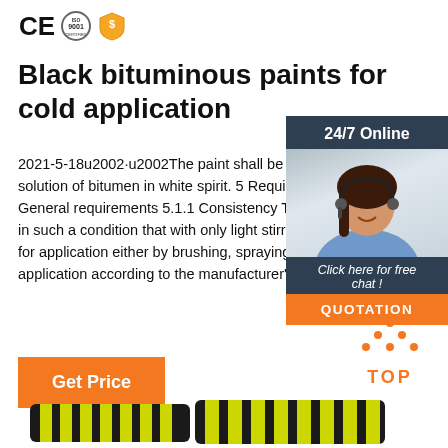[Figure (logo): CE mark, ISO 9001 certification circle, and gold shield supplier badge]
Black bituminous paints for cold application
2021-5-18u2002·u2002The paint shall be a black solution of bitumen in white spirit. 5 Requirements General requirements 5.1.1 Consistency The in such a condition that with only light stirring for application either by brushing, spraying o application according to the manufacturer's i
[Figure (photo): Customer service agent woman with headset smiling, with 24/7 Online header, Click here for free chat text, and QUOTATION orange button, all in a dark navy panel]
[Figure (other): Orange TOP icon with dots forming a triangle above the word TOP]
[Figure (photo): Product image of black and yellow striped speed bumps/rubber bumpers at the bottom of the page]